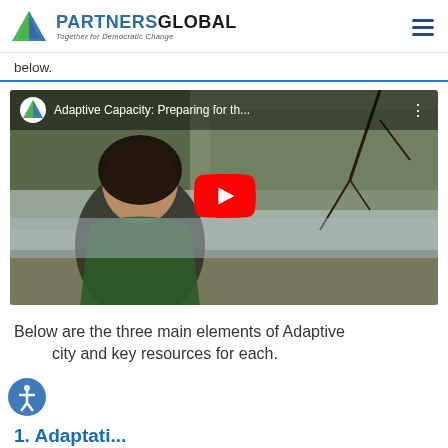PARTNERS GLOBAL — Together for Democratic Change
below.
[Figure (screenshot): YouTube video thumbnail showing a woman sitting outdoors near a lake with trees in background. Title overlay reads: 'Adaptive Capacity: Preparing for th...' with PartnerGlobal logo in top left and YouTube play button in center.]
Below are the three main elements of Adaptive Capacity and key resources for each.
1. Adaptati...